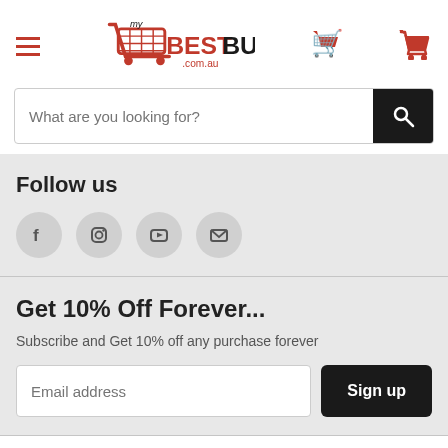[Figure (logo): myBestBuy.com.au logo with shopping cart icon in red and black text]
What are you looking for?
Follow us
[Figure (illustration): Social media icons: Facebook, Instagram, YouTube, Email in gray circles]
Get 10% Off Forever...
Subscribe and Get 10% off any purchase forever
Email address
Sign up